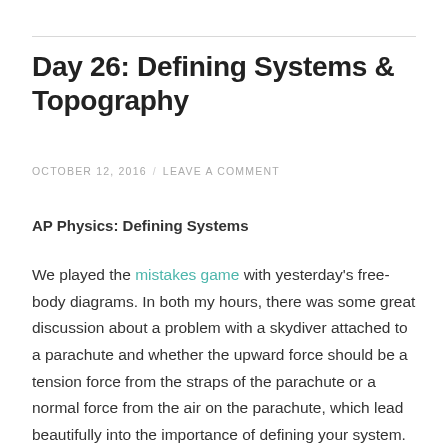Day 26: Defining Systems & Topography
OCTOBER 12, 2016 / LEAVE A COMMENT
AP Physics: Defining Systems
We played the mistakes game with yesterday's free-body diagrams. In both my hours, there was some great discussion about a problem with a skydiver attached to a parachute and whether the upward force should be a tension force from the straps of the parachute or a normal force from the air on the parachute, which lead beautifully into the importance of defining your system.